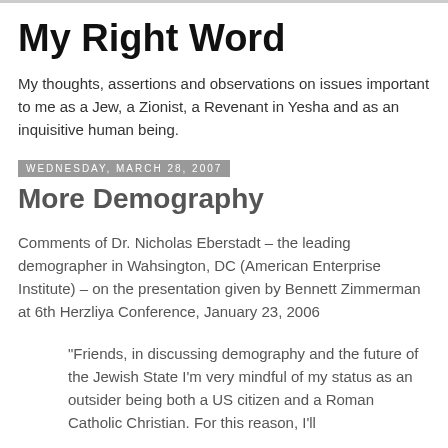My Right Word
My thoughts, assertions and observations on issues important to me as a Jew, a Zionist, a Revenant in Yesha and as an inquisitive human being.
Wednesday, March 28, 2007
More Demography
Comments of Dr. Nicholas Eberstadt – the leading demographer in Wahsington, DC (American Enterprise Institute) – on the presentation given by Bennett Zimmerman at 6th Herzliya Conference, January 23, 2006
“Friends, in discussing demography and the future of the Jewish State I’m very mindful of my status as an outsider being both a US citizen and a Roman Catholic Christian. For this reason, I’ll